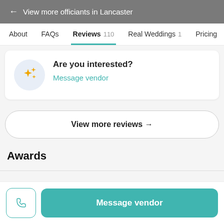← View more officiants in Lancaster
About   FAQs   Reviews 110   Real Weddings 1   Pricing
Are you interested?
Message vendor
View more reviews →
Awards
Message vendor